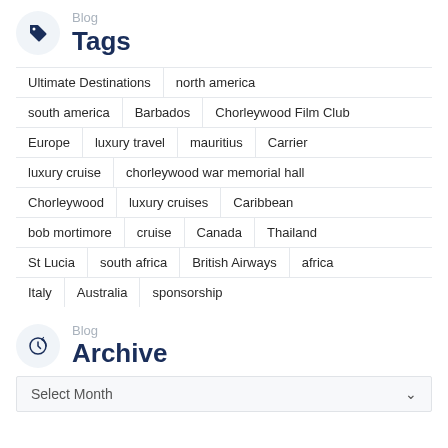Blog Tags
Ultimate Destinations
north america
south america
Barbados
Chorleywood Film Club
Europe
luxury travel
mauritius
Carrier
luxury cruise
chorleywood war memorial hall
Chorleywood
luxury cruises
Caribbean
bob mortimore
cruise
Canada
Thailand
St Lucia
south africa
British Airways
africa
Italy
Australia
sponsorship
Blog Archive
Select Month